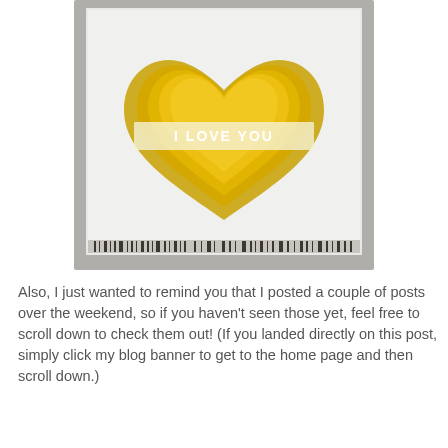[Figure (photo): A greeting card with nested gold metallic heart shapes on a white/frosted background inside a gray rustic wood frame. A pale banner across the middle reads 'I LOVE YOU' in white text. The bottom of the card shows a barcode strip.]
Also, I just wanted to remind you that I posted a couple of posts over the weekend, so if you haven't seen those yet, feel free to scroll down to check them out!  (If you landed directly on this post, simply click my blog banner to get to the home page and then scroll down.)